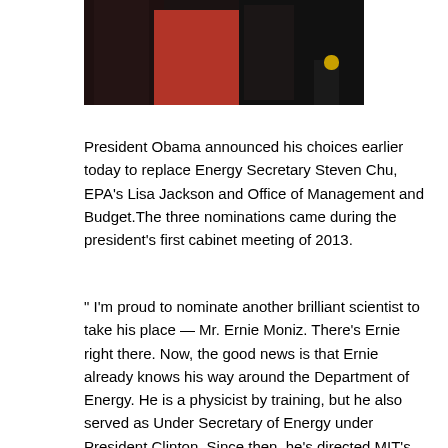[Figure (photo): Dark photograph showing people at what appears to be a formal or official event, dark background with silhouettes]
President Obama announced his choices earlier today to replace Energy Secretary Steven Chu, EPA's Lisa Jackson and Office of Management and Budget.The three nominations came during the president's first cabinet meeting of 2013.
" I'm proud to nominate another brilliant scientist to take his place — Mr. Ernie Moniz. There's Ernie right there. Now, the good news is that Ernie already knows his way around the Department of Energy. He is a physicist by training, but he also served as Under Secretary of Energy under President Clinton. Since then, he's directed MIT's Energy Initiative, which brings together prominent thinkers and energy companies to develop the technologies that can lead us to more energy independence and also to new jobs." said